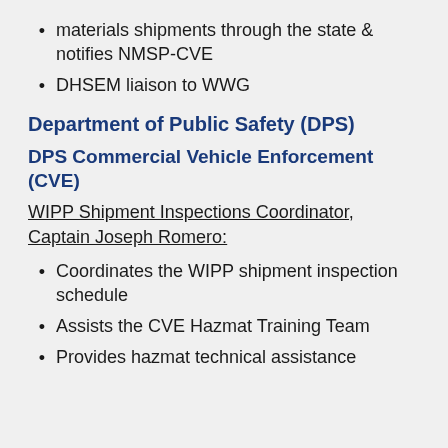materials shipments through the state & notifies NMSP-CVE
DHSEM liaison to WWG
Department of Public Safety (DPS)
DPS Commercial Vehicle Enforcement (CVE)
WIPP Shipment Inspections Coordinator, Captain Joseph Romero:
Coordinates the WIPP shipment inspection schedule
Assists the CVE Hazmat Training Team
Provides hazmat technical assistance